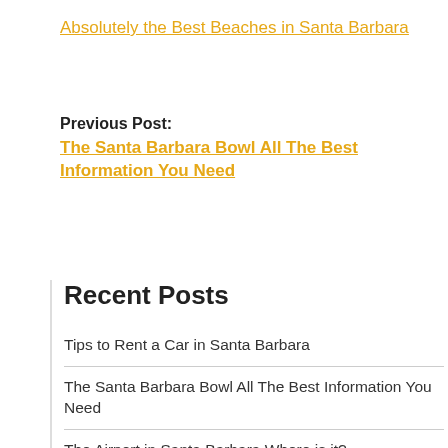Absolutely the Best Beaches in Santa Barbara
Previous Post:
The Santa Barbara Bowl All The Best Information You Need
Recent Posts
Tips to Rent a Car in Santa Barbara
The Santa Barbara Bowl All The Best Information You Need
The Airport in Santa Barbara Where is it?
Absolutely the Best Hikes in Santa Barbara